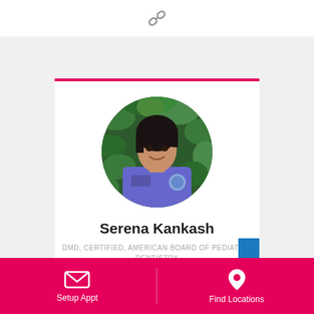[Figure (photo): Link/chain icon in gray on white background strip at top]
[Figure (photo): Circular portrait photo of Dr. Serena Kankash smiling, wearing blue/purple medical scrubs with a patch logo, standing in front of green foliage background]
Serena Kankash
DMD, CERTIFIED, AMERICAN BOARD OF PEDIATRIC DENTISTRY
[Figure (infographic): Bottom navigation bar in hot pink/magenta with two buttons: 'Setup Appt' (envelope icon) on left and 'Find Locations' (location pin icon) on right, separated by a vertical divider]